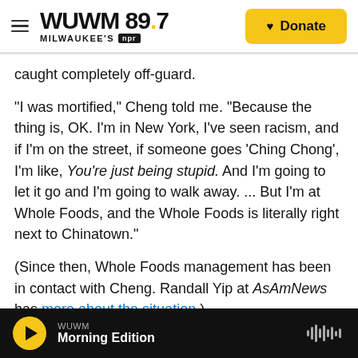WUWM 89.7 Milwaukee's NPR | Donate
caught completely off-guard.
"I was mortified," Cheng told me. "Because the thing is, OK. I'm in New York, I've seen racism, and if I'm on the street, if someone goes 'Ching Chong', I'm like, You're just being stupid. And I'm going to let it go and I'm going to walk away. ... But I'm at Whole Foods, and the Whole Foods is literally right next to Chinatown."
(Since then, Whole Foods management has been in contact with Cheng. Randall Yip at AsAmNews has more about the situation.)
WUWM Morning Edition